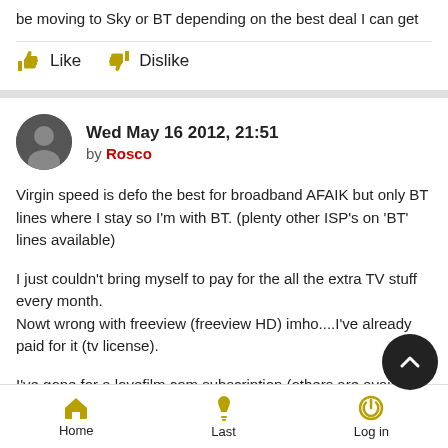be moving to Sky or BT depending on the best deal I can get
Like   Dislike
Wed May 16 2012, 21:51
by Rosco
Virgin speed is defo the best for broadband AFAIK but only BT lines where I stay so I'm with BT. (plenty other ISP's on 'BT' lines available)
I just couldn't bring myself to pay for the all the extra TV stuff every month.
Nowt wrong with freeview (freeview HD) imho....I've already paid for it (tv license).
I've gone for a lovefilm.com subscription (others are availa... which gives me 2 discs at a time - games, blu-ray or dvds and the
Home   Last   Log in